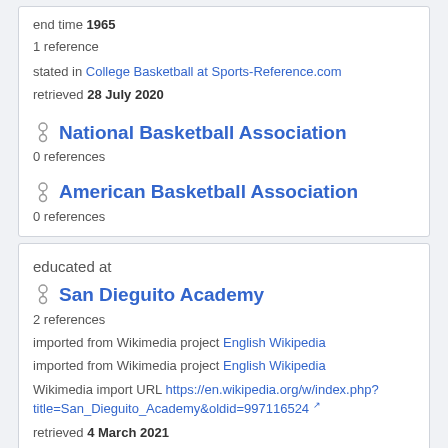end time 1965
1 reference
stated in College Basketball at Sports-Reference.com
retrieved 28 July 2020
National Basketball Association
0 references
American Basketball Association
0 references
educated at
San Dieguito Academy
2 references
imported from Wikimedia project English Wikipedia
imported from Wikimedia project English Wikipedia
Wikimedia import URL https://en.wikipedia.org/w/index.php?title=San_Dieguito_Academy&oldid=997116524
retrieved 4 March 2021